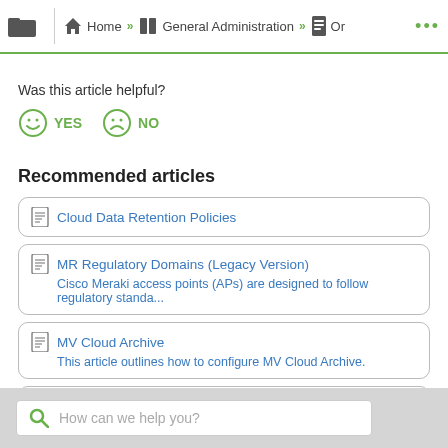Home » General Administration » Or ...
Was this article helpful?
YES   NO
Recommended articles
Cloud Data Retention Policies
MR Regulatory Domains (Legacy Version)
Cisco Meraki access points (APs) are designed to follow regulatory standa...
MV Cloud Archive
This article outlines how to configure MV Cloud Archive.
MV Encoding Improvements: Smart Codec
How can we help you?